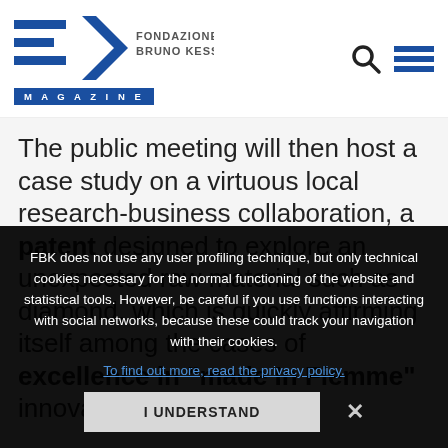[Figure (logo): Fondazione Bruno Kessler Magazine logo with FBK stylized letters and blue Magazine bar]
The public meeting will then host a case study on a virtuous local research-business collaboration, a patent designed to explore an unexpected raw material such as diamond, which is quickly affirming itself among the cases of excellence in "made In Fiemme" innovation.
FBK does not use any user profiling technique, but only technical cookies necessary for the normal functioning of the website and statistical tools. However, be careful if you use functions interacting with social networks, because these could track your navigation with their cookies.
To find out more, read the privacy policy.
I UNDERSTAND